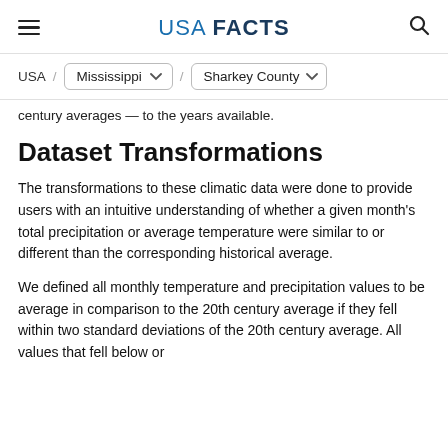USA FACTS
USA / Mississippi / Sharkey County
century averages — to the years available.
Dataset Transformations
The transformations to these climatic data were done to provide users with an intuitive understanding of whether a given month's total precipitation or average temperature were similar to or different than the corresponding historical average.
We defined all monthly temperature and precipitation values to be average in comparison to the 20th century average if they fell within two standard deviations of the 20th century average. All values that fell below or